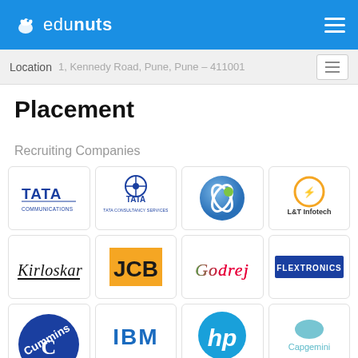edunuts
Location  1, Kennedy Road, Pune, Pune – 411001
Placement
Recruiting Companies
[Figure (logo): Grid of recruiting company logos: Tata Communications, Tata Consultancy Services, Persistent Systems, L&T Infotech, Kirloskar, JCB, Godrej, Flextronics, Cummins, IBM, HP, Capgemini]